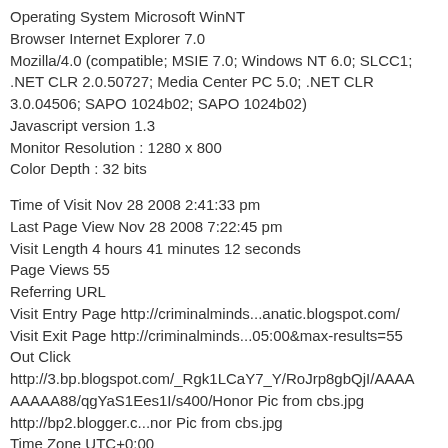Operating System Microsoft WinNT
Browser Internet Explorer 7.0
Mozilla/4.0 (compatible; MSIE 7.0; Windows NT 6.0; SLCC1; .NET CLR 2.0.50727; Media Center PC 5.0; .NET CLR 3.0.04506; SAPO 1024b02; SAPO 1024b02)
Javascript version 1.3
Monitor Resolution : 1280 x 800
Color Depth : 32 bits
Time of Visit Nov 28 2008 2:41:33 pm
Last Page View Nov 28 2008 7:22:45 pm
Visit Length 4 hours 41 minutes 12 seconds
Page Views 55
Referring URL
Visit Entry Page http://criminalminds...anatic.blogspot.com/
Visit Exit Page http://criminalminds...05:00&max-results=55
Out Click
http://3.bp.blogspot.com/_Rgk1LCaY7_Y/RoJrp8gbQjI/AAAA AAAAA88/qgYaS1Ees1I/s400/Honor Pic from cbs.jpg
http://bp2.blogger.c...nor Pic from cbs.jpg
Time Zone UTC+0:00
Visitor's Time Nov 28 2008 8:41:33 pm
Visit Number 11,333,135